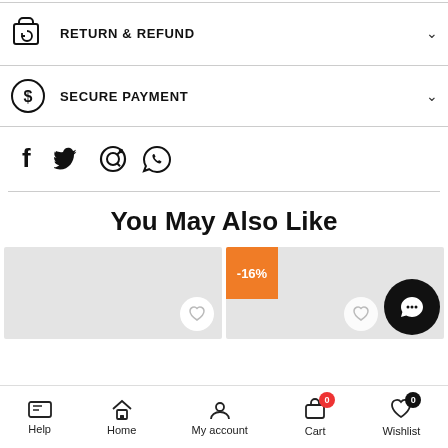RETURN & REFUND
SECURE PAYMENT
[Figure (other): Social share icons: Facebook, Twitter, Pinterest, WhatsApp]
You May Also Like
[Figure (other): Product cards row with -16% discount badge, heart wish buttons, and chat bubble]
Help | Home | My account | Cart 0 | Wishlist 0